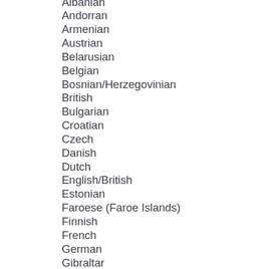Albanian
Andorran
Armenian
Austrian
Belarusian
Belgian
Bosnian/Herzegovinian
British
Bulgarian
Croatian
Czech
Danish
Dutch
English/British
Estonian
Faroese (Faroe Islands)
Finnish
French
German
Gibraltar
Greek
Hungarian
Icelandic
Irish
Italian